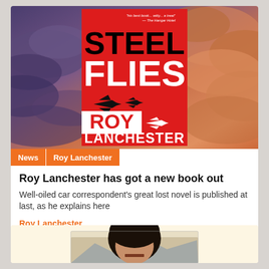[Figure (photo): Book cover of 'Steel Flies' by Roy Lanchester. Red cover with bold black and white text, silhouettes of jet aircraft, set against a dramatic purple and orange cloudy sky background.]
News | Roy Lanchester
Roy Lanchester has got a new book out
Well-oiled car correspondent's great lost novel is published at last, as he explains here
Roy Lanchester
13 Jan 2021
[Figure (photo): Partial photo of a man with dark curly hair, appearing to snarl or grimace, with a mountainous background.]